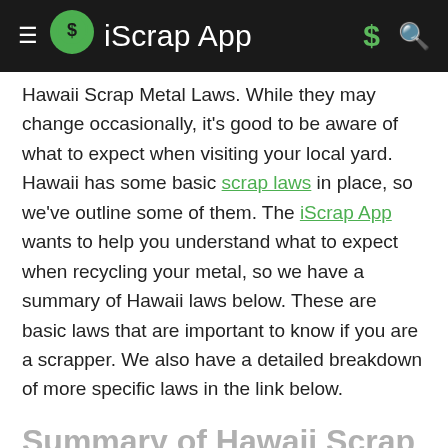iScrap App
Hawaii Scrap Metal Laws. While they may change occasionally, it's good to be aware of what to expect when visiting your local yard. Hawaii has some basic scrap laws in place, so we've outline some of them. The iScrap App wants to help you understand what to expect when recycling your metal, so we have a summary of Hawaii laws below. These are basic laws that are important to know if you are a scrapper. We also have a detailed breakdown of more specific laws in the link below.
Summary of Hawaii Scrap Laws:
Sign Document: Scrap sellers in Hawaii are required to sign a document saying they have not...